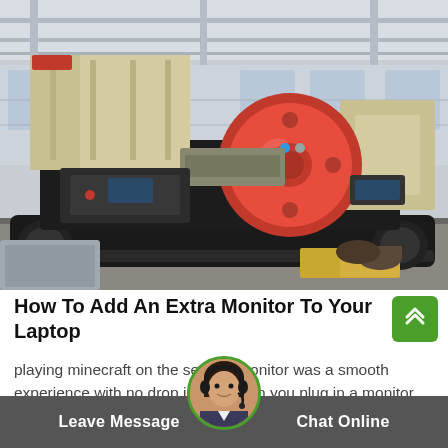[Figure (photo): Industrial mobile jaw crusher on crawler tracks inside a factory/warehouse. Machine is large, black and beige/cream colored with a prominent red circular flywheel. Set on crawler tracks on a factory floor with corrugated metal walls in the background.]
How To Add An Extra Monitor To Your Laptop
playing minecraft on the second monitor was a smooth experience with no drop in fps. when you plug in a monitor most operating systems and laptop hardware will automatically detect it (and, at minimum,...
Leave Message
Chat Online